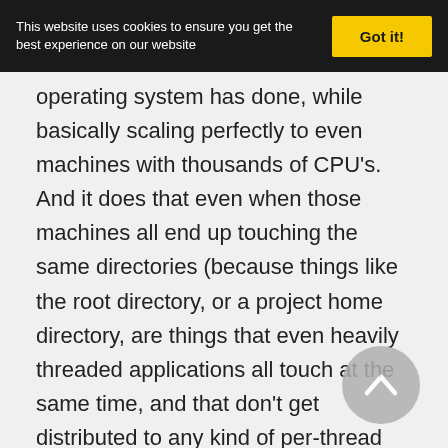This website uses cookies to ensure you get the best experience on our website | Got it!
operating system has done, while basically scaling perfectly to even machines with thousands of CPU's. And it does that even when those machines all end up touching the same directories (because things like the root directory, or a project home directory, are things that even heavily threaded applications all touch at the same time, and that don't get distributed to any kind of per-thread behavior).
So it's not just "better", it's "Better" with a capital 'B'. Nothing else out there comes even close. The Linux dcache is simply in a class all its own.